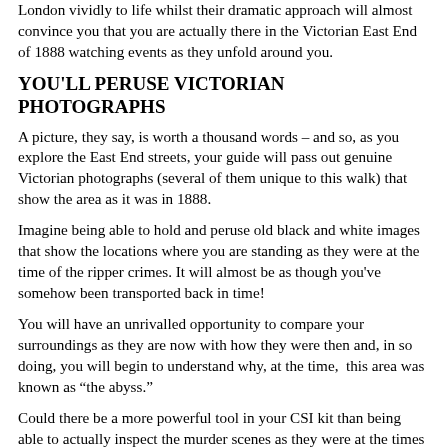London vividly to life whilst their dramatic approach will almost convince you that you are actually there in the Victorian East End of 1888 watching events as they unfold around you.
YOU'LL PERUSE VICTORIAN PHOTOGRAPHS
A picture, they say, is worth a thousand words – and so, as you explore the East End streets, your guide will pass out genuine Victorian photographs (several of them unique to this walk) that show the area as it was in 1888.
Imagine being able to hold and peruse old black and white images that show the locations where you are standing as they were at the time of the ripper crimes. It will almost be as though you've somehow been transported back in time!
You will have an unrivalled opportunity to compare your surroundings as they are now with how they were then and, in so doing, you will begin to understand why, at the time,  this area was known as “the abyss.”
Could there be a more powerful tool in your CSI kit than being able to actually inspect the murder scenes as they were at the times of the crimes?